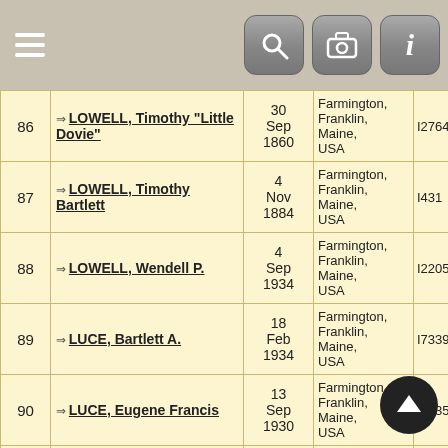| # | Name | Date | Place | ID |
| --- | --- | --- | --- | --- |
| 86 | LOWELL, Timothy "Little Dovie" | 30 Sep 1860 | Farmington, Franklin, Maine, USA | I2764 |
| 87 | LOWELL, Timothy Bartlett | 4 Nov 1884 | Farmington, Franklin, Maine, USA | I431 |
| 88 | LOWELL, Wendell P. | 4 Sep 1934 | Farmington, Franklin, Maine, USA | I2205 |
| 89 | LUCE, Bartlett A. | 18 Feb 1934 | Farmington, Franklin, Maine, USA | I7339 |
| 90 | LUCE, Eugene Francis | 13 Sep 1930 | Farmington, Franklin, Maine, USA | I7335 |
| 91 | LUCE, Jessie M. | 19 Jan 1896 | Farmington, Franklin, Maine, USA | I2165 |